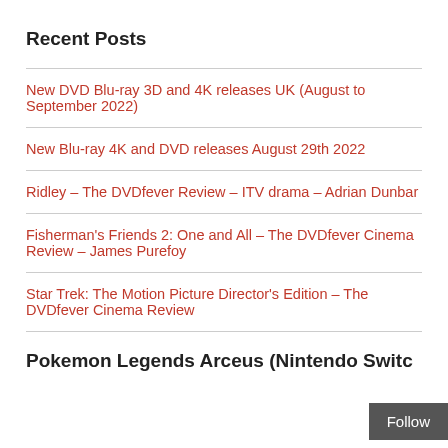Recent Posts
New DVD Blu-ray 3D and 4K releases UK (August to September 2022)
New Blu-ray 4K and DVD releases August 29th 2022
Ridley – The DVDfever Review – ITV drama – Adrian Dunbar
Fisherman's Friends 2: One and All – The DVDfever Cinema Review – James Purefoy
Star Trek: The Motion Picture Director's Edition – The DVDfever Cinema Review
Pokemon Legends Arceus (Nintendo Switc…